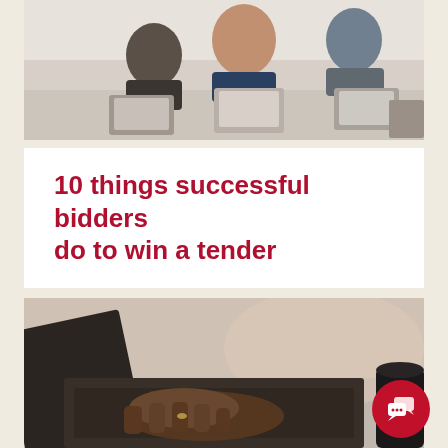[Figure (photo): Two people sitting at a conference table with laptops open, viewed from across the table. Office environment with white/grey background.]
10 things successful bidders do to win a tender
[Figure (photo): Close-up of a person's hands typing on a laptop keyboard, with a blurred background. Another object visible at far right.]